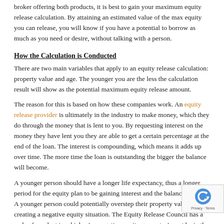broker offering both products, it is best to gain your maximum equity release calculation. By attaining an estimated value of the max equity you can release, you will know if you have a potential to borrow as much as you need or desire, without talking with a person.
How the Calculation is Conducted
There are two main variables that apply to an equity release calculation: property value and age. The younger you are the less the calculation result will show as the potential maximum equity release amount.
The reason for this is based on how these companies work. An equity release provider is ultimately in the industry to make money, which they do through the money that is lent to you. By requesting interest on the money they have lent you they are able to get a certain percentage at the end of the loan. The interest is compounding, which means it adds up over time. The more time the loan is outstanding the bigger the balance will become.
A younger person should have a longer life expectancy, thus a longer period for the equity plan to be gaining interest and the balance to grow. A younger person could potentially overstep their property value creating a negative equity situation. The Equity Release Council has a code of conduct in which a 'no negative equity guarantee' must be in the contract, stating you will not have to pay more than the total value of your home to repay the loan. To ensure this occurs, the amount is kept low based on...